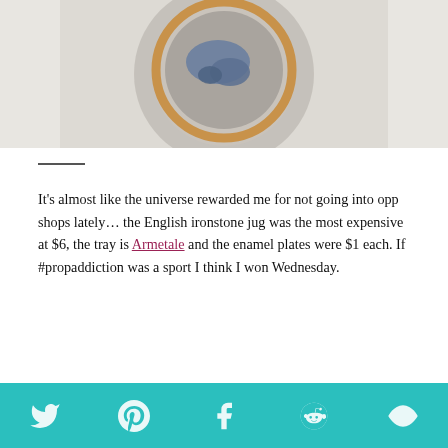[Figure (photo): Embroidery hoop with blue fabric art on grey linen, placed on white crinkled paper background, shot from above.]
It's almost like the universe rewarded me for not going into opp shops lately… the English ironstone jug was the most expensive at $6, the tray is Armetale and the enamel plates were $1 each. If #propaddiction was a sport I think I won Wednesday.
[Figure (photo): Flat lay of white and yellow enamel plates with vintage silver forks on a grey surface.]